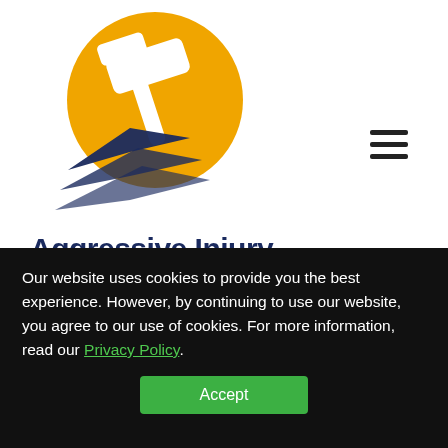[Figure (logo): Aggressive Injury Law News logo: gold circle with white gavel, dark navy swoosh lines below]
Aggressive Injury LAW NEWS
Austin Energy, ERCOT sued over February outages that led to woman's death
Our website uses cookies to provide you the best experience. However, by continuing to use our website, you agree to our use of cookies. For more information, read our Privacy Policy.